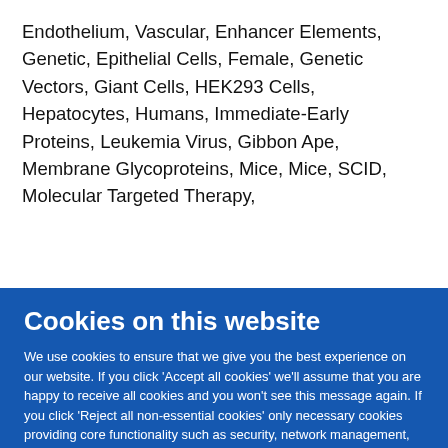Endothelium, Vascular, Enhancer Elements, Genetic, Epithelial Cells, Female, Genetic Vectors, Giant Cells, HEK293 Cells, Hepatocytes, Humans, Immediate-Early Proteins, Leukemia Virus, Gibbon Ape, Membrane Glycoproteins, Mice, Mice, SCID, Molecular Targeted Therapy,
Cookies on this website
We use cookies to ensure that we give you the best experience on our website. If you click 'Accept all cookies' we'll assume that you are happy to receive all cookies and you won't see this message again. If you click 'Reject all non-essential cookies' only necessary cookies providing core functionality such as security, network management, and accessibility will be enabled. Click 'Find out more' for information on how to change your cookie settings.